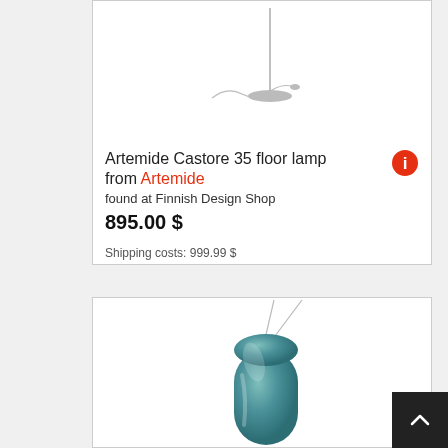[Figure (photo): Artemide Castore 35 floor lamp product image showing a slim pole lamp with circular base and wavy cord on white background]
Artemide Castore 35 floor lamp from Artemide
found at Finnish Design Shop
895.00 $
Shipping costs: 999.99 $
[Figure (photo): Teal/blue-grey glass pendant lamp shade, rounded capsule shape, with thin wire suspension, partially visible]